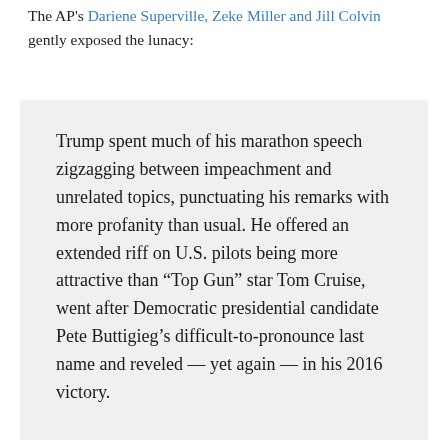The AP's Dariene Superville, Zeke Miller and Jill Colvin gently exposed the lunacy:
Trump spent much of his marathon speech zigzagging between impeachment and unrelated topics, punctuating his remarks with more profanity than usual. He offered an extended riff on U.S. pilots being more attractive than “Top Gun” star Tom Cruise, went after Democratic presidential candidate Pete Buttigieg’s difficult-to-pronounce last name and reveled — yet again — in his 2016 victory.